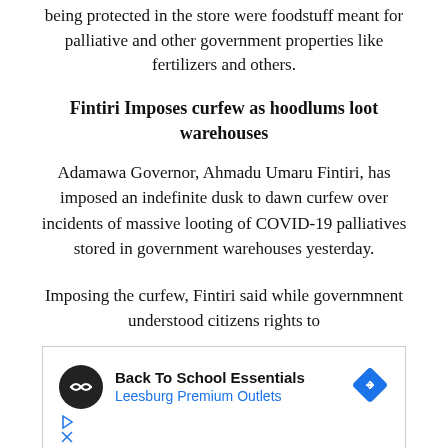being protected in the store were foodstuff meant for palliative and other government properties like fertilizers and others.
Fintiri Imposes curfew as hoodlums loot warehouses
Adamawa Governor, Ahmadu Umaru Fintiri, has imposed an indefinite dusk to dawn curfew over incidents of massive looting of COVID-19 palliatives stored in government warehouses yesterday.
Imposing the curfew, Fintiri said while governmnent understood citizens rights to
[Figure (other): Advertisement banner for Back To School Essentials at Leesburg Premium Outlets, with a circular logo, diamond-shaped navigation icon, and ad controls.]